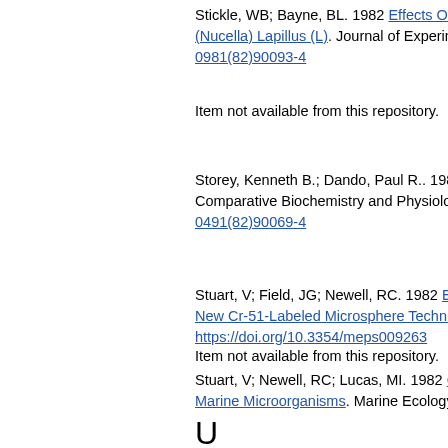Stickle, WB; Bayne, BL. 1982 Effects Of Te... (Nucella) Lapillus (L). Journal of Experime... 0981(82)90093-4
Item not available from this repository.
Storey, Kenneth B.; Dando, Paul R.. 1982 Comparative Biochemistry and Physiology... 0491(82)90069-4
Item not available from this repository.
Stuart, V; Field, JG; Newell, RC. 1982 Evid... New Cr-51-Labeled Microsphere Techniqu... https://doi.org/10.3354/meps009263
Stuart, V; Newell, RC; Lucas, MI. 1982 Co... Marine Microorganisms. Marine Ecology P...
U